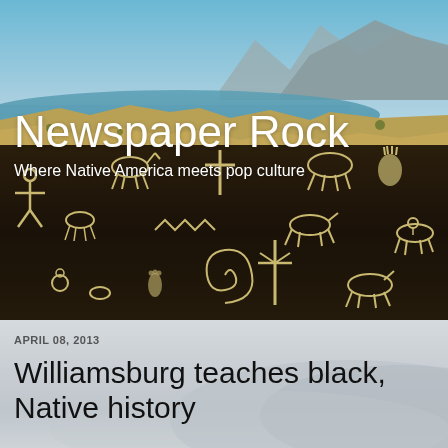[Figure (photo): Aerial landscape photo showing a desert lake with blue water, sandy shores, scattered desert vegetation, and a mountain range under a clear blue sky — serves as header background for Newspaper Rock blog]
Newspaper Rock
Where Native America meets pop culture
[Figure (photo): Close-up photo of a dark rock surface covered in petroglyphs — carved ancient Native American symbols including human figures, animals, handprints, spirals, and various abstract shapes on dark brown/black stone]
APRIL 08, 2013
Williamsburg teaches black, Native history